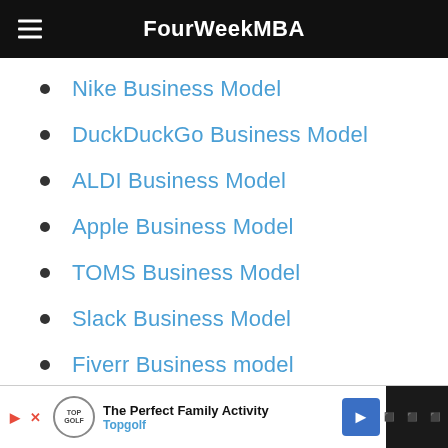FourWeekMBA
Nike Business Model
DuckDuckGo Business Model
ALDI Business Model
Apple Business Model
TOMS Business Model
Slack Business Model
Fiverr Business model
The Perfect Family Activity Topgolf